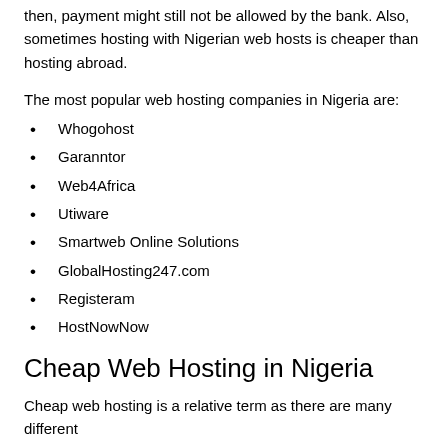then, payment might still not be allowed by the bank. Also, sometimes hosting with Nigerian web hosts is cheaper than hosting abroad.
The most popular web hosting companies in Nigeria are:
Whogohost
Garanntor
Web4Africa
Utiware
Smartweb Online Solutions
GlobalHosting247.com
Registeram
HostNowNow
Cheap Web Hosting in Nigeria
Cheap web hosting is a relative term as there are many different